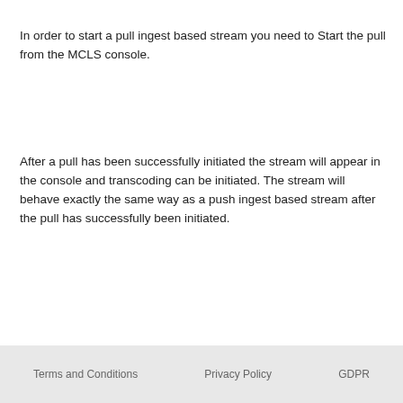In order to start a pull ingest based stream you need to Start the pull from the MCLS console.
After a pull has been successfully initiated the stream will appear in the console and transcoding can be initiated. The stream will behave exactly the same way as a push ingest based stream after the pull has successfully been initiated.
Terms and Conditions   Privacy Policy   GDPR